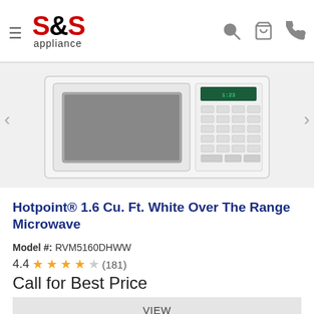S&S appliance
[Figure (photo): White Hotpoint over-the-range microwave with door and control panel visible]
Hotpoint® 1.6 Cu. Ft. White Over The Range Microwave
Model #: RVM5160DHWW
4.4 ★★★★☆ (181)
Call for Best Price
VIEW